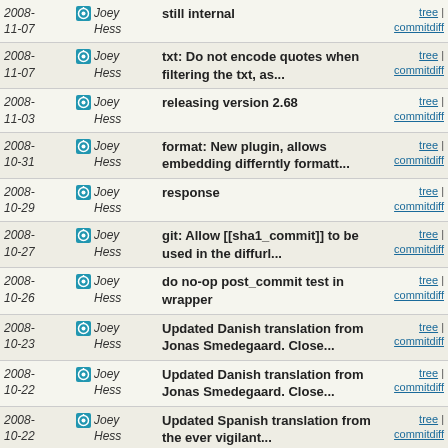| Date | Author | Message | Links |
| --- | --- | --- | --- |
| 2008-11-07 | Joey Hess | still internal | tree | commitdiff |
| 2008-11-07 | Joey Hess | txt: Do not encode quotes when filtering the txt, as... | tree | commitdiff |
| 2008-11-03 | Joey Hess | releasing version 2.68 | tree | commitdiff |
| 2008-10-31 | Joey Hess | format: New plugin, allows embedding differntly formatt... | tree | commitdiff |
| 2008-10-29 | Joey Hess | response | tree | commitdiff |
| 2008-10-27 | Joey Hess | git: Allow [[sha1_commit]] to be used in the diffurl... | tree | commitdiff |
| 2008-10-26 | Joey Hess | do no-op post_commit test in wrapper | tree | commitdiff |
| 2008-10-23 | Joey Hess | Updated Danish translation from Jonas Smedegaard. Close... | tree | commitdiff |
| 2008-10-22 | Joey Hess | Updated Danish translation from Jonas Smedegaard. Close... | tree | commitdiff |
| 2008-10-22 | Joey Hess | Updated Spanish translation from the ever vigilant... | tree | commitdiff |
| 2008-10-21 | Joey Hess | Merge branch 'master' of ssh://git.ikiwiki.info/srv... | tree | commitdiff |
| 2008-10-21 | Joey Hess | function injection overhaul | tree | commitdiff |
| 2008-10-20 | Joey Hess | add displaytime hook | tree | commitdiff |